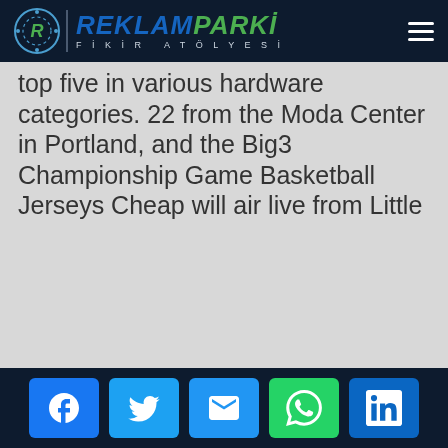Reklam Parki - Fikir Atölyesi
top five in various hardware categories. 22 from the Moda Center in Portland, and the Big3 Championship Game Basketball Jerseys Cheap will air live from Little
Social share buttons: Facebook, Twitter, Email, WhatsApp, LinkedIn